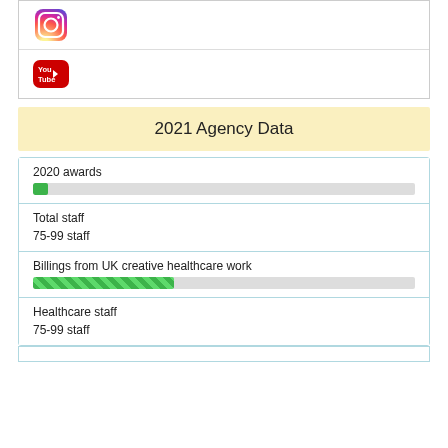[Figure (logo): Instagram logo icon]
[Figure (logo): YouTube logo icon]
2021 Agency Data
2020 awards
Total staff
75-99 staff
Billings from UK creative healthcare work
Healthcare staff
75-99 staff